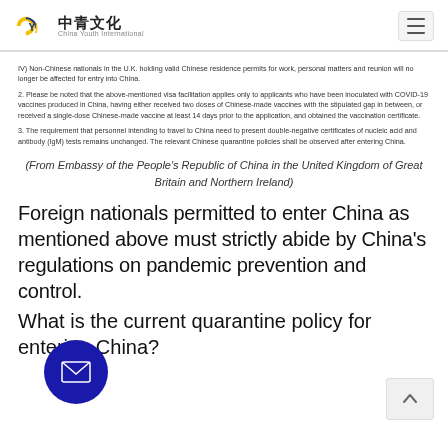中青文化 China Youth International
IV) Non-Chinese nationals in the U.K. holding valid Chinese residence permits for work, personal matters and reunion will no longer be affected for entry into China.
2. Please be noted that the above-mentioned visa facilitation applies only to applicants who have been inoculated with COVID-19 vaccines produced in China, having either received two doses of Chinese-made vaccines with the stipulated gap in between, or received a single-dose Chinese-made vaccine at least 14 days prior to the application, and obtained the vaccination certificate.
3. The requirement that personnel intending to travel to China need to present double-negative certificates of nucleic acid and antibody (IgM) tests remains unchanged. The relevant Chinese quarantine policies shall be observed after entering China.
(From Embassy of the People's Republic of China in the United Kingdom of Great Britain and Northern Ireland)
Foreign nationals permitted to enter China as mentioned above must strictly abide by China's regulations on pandemic prevention and control.
What is the current quarantine policy for entering China?